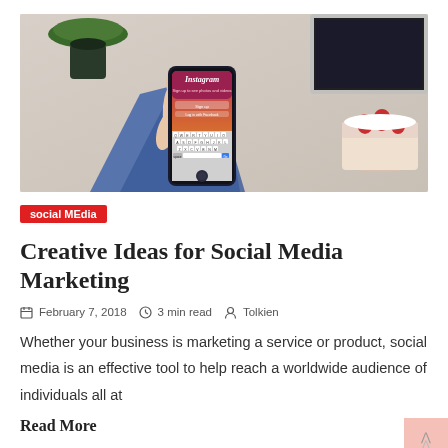[Figure (photo): Photo of a hand holding a smartphone displaying the Instagram login screen with keyboard visible. A strawberry cake and a laptop are visible in the background on a desk.]
social MEdia
Creative Ideas for Social Media Marketing
February 7, 2018  3 min read  Tolkien
Whether your business is marketing a service or product, social media is an effective tool to help reach a worldwide audience of individuals all at
Read More